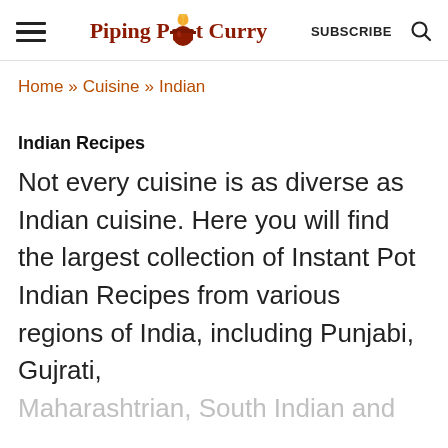Piping Pot Curry | SUBSCRIBE
Home » Cuisine » Indian
Indian Recipes
Not every cuisine is as diverse as Indian cuisine. Here you will find the largest collection of Instant Pot Indian Recipes from various regions of India, including Punjabi, Gujrati, Maharashtrian, South Indian and